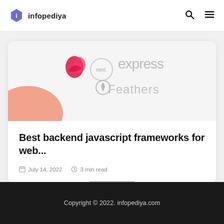infopediya
[Figure (screenshot): Article card image showing logos: NestJS bird logo (pink/red), Next.js circle logo, Express.js logo text, Feathers logo with leaf icon — framework logos on white/light background with salmon/orange shape in bottom-left corner]
Best backend javascript frameworks for web...
July 14, 2022  3 min read
Copyright © 2022. infopediya.com